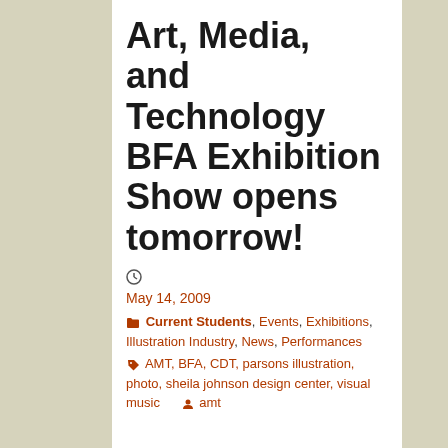Art, Media, and Technology BFA Exhibition Show opens tomorrow!
May 14, 2009
Current Students, Events, Exhibitions, Illustration Industry, News, Performances
AMT, BFA, CDT, parsons illustration, photo, sheila johnson design center, visual music
amt